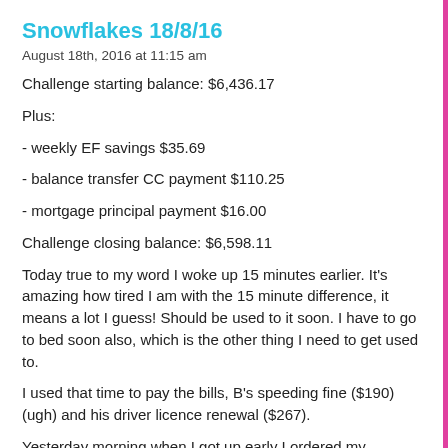Snowflakes 18/8/16
August 18th, 2016 at 11:15 am
Challenge starting balance: $6,436.17
Plus:
- weekly EF savings $35.69
- balance transfer CC payment $110.25
- mortgage principal payment $16.00
Challenge closing balance: $6,598.11
Today true to my word I woke up 15 minutes earlier. It's amazing how tired I am with the 15 minute difference, it means a lot I guess! Should be used to it soon. I have to go to bed soon also, which is the other thing I need to get used to.
I used that time to pay the bills, B's speeding fine ($190)(ugh) and his driver licence renewal ($267).
Yesterday morning when I got up early I ordered my textbook ($140.94).